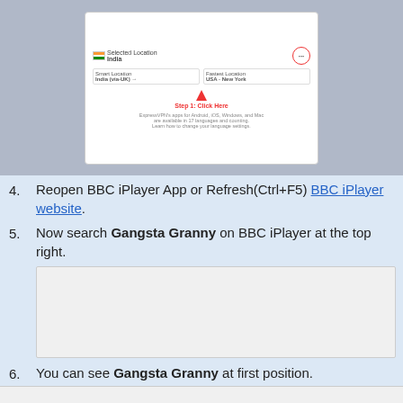[Figure (screenshot): Screenshot of a VPN app showing Selected Location: India, Smart Location: India (via-UK), Fastest Location: USA - New York, with a circled dots button and an upward arrow with 'Step 1: Click Here' in red text below it, and small text about apps below.]
4. Reopen BBC iPlayer App or Refresh(Ctrl+F5) BBC iPlayer website.
5. Now search Gangsta Granny on BBC iPlayer at the top right.
[Figure (screenshot): Blank white/light gray placeholder image representing a BBC iPlayer search screenshot.]
6. You can see Gangsta Granny at first position.
7. Click on [play button icon] button and enjoy your movie.